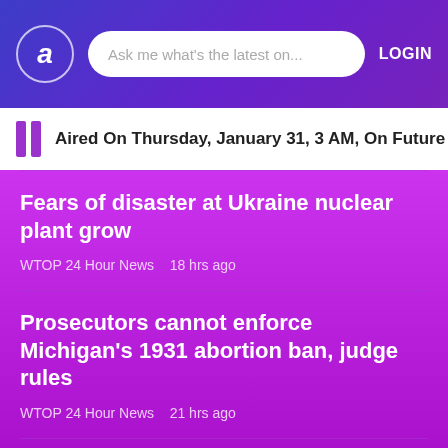Ask me what's the latest on... LOGIN
Aired On Thursday, January 31, 3 AM, On Future Tense
Fears of disaster at Ukraine nuclear plant grow
WTOP 24 Hour News   18 hrs ago
Prosecutors cannot enforce Michigan's 1931 abortion ban, judge rules
WTOP 24 Hour News   21 hrs ago
Aired On Thursday, January 31, 3 AM, On Future Tense.
Future Tense   3 years ago   listened